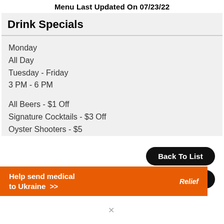Menu Last Updated On 07/23/22
Drink Specials
Monday
All Day
Tuesday - Friday
3 PM - 6 PM
All Beers - $1 Off
Signature Cocktails - $3 Off
Oyster Shooters - $5
Back To List
Back To Map
Help send medical to Ukraine >>  Relief